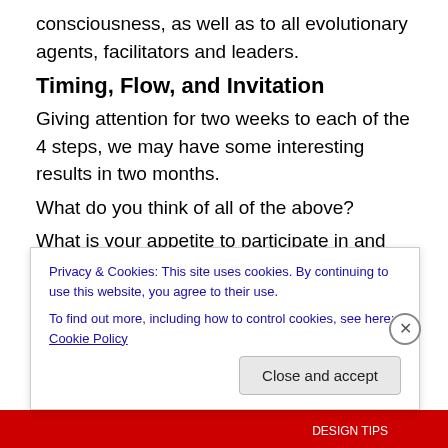consciousness, as well as to all evolutionary agents, facilitators and leaders.
Timing, Flow, and Invitation
Giving attention for two weeks to each of the 4 steps, we may have some interesting results in two months.
What do you think of all of the above?
What is your appetite to participate in and shape this project?
Given the scope and portent of this inquiry, hosting and facilitating it could easily become a full-time occupation that none of us can afford. However, that wouldn't be
Privacy & Cookies: This site uses cookies. By continuing to use this website, you agree to their use.
To find out more, including how to control cookies, see here: Cookie Policy
Close and accept